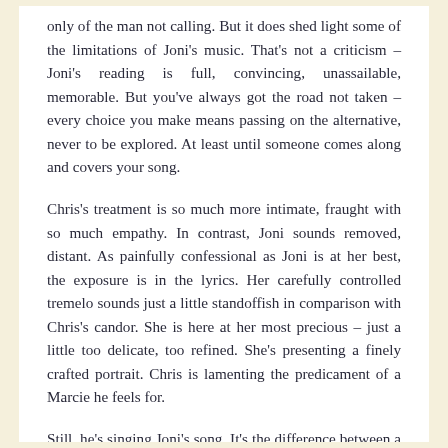only of the man not calling. But it does shed light some of the limitations of Joni's music. That's not a criticism – Joni's reading is full, convincing, unassailable, memorable. But you've always got the road not taken – every choice you make means passing on the alternative, never to be explored. At least until someone comes along and covers your song.
Chris's treatment is so much more intimate, fraught with so much empathy. In contrast, Joni sounds removed, distant. As painfully confessional as Joni is at her best, the exposure is in the lyrics. Her carefully controlled tremelo sounds just a little standoffish in comparison with Chris's candor. She is here at her most precious – just a little too delicate, too refined. She's presenting a finely crafted portrait. Chris is lamenting the predicament of a Marcie he feels for.
Still, he's singing Joni's song. It's the difference between a creative artist and a performing artist. You gotta give the nod to creator. You just got to.